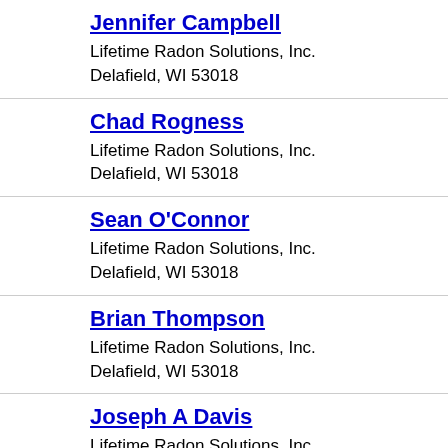Jennifer Campbell
Lifetime Radon Solutions, Inc.
Delafield, WI 53018
Chad Rogness
Lifetime Radon Solutions, Inc.
Delafield, WI 53018
Sean O'Connor
Lifetime Radon Solutions, Inc.
Delafield, WI 53018
Brian Thompson
Lifetime Radon Solutions, Inc.
Delafield, WI 53018
Joseph A Davis
Lifetime Radon Solutions, Inc.
Delafield, WI 53018
Gary Lusz
Best Radon Solutions, LLC
East Troy, WI 53120